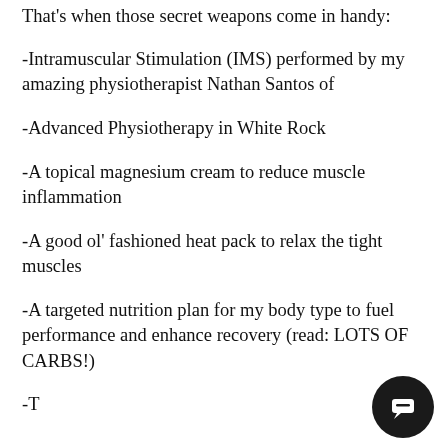That's when those secret weapons come in handy:
-Intramuscular Stimulation (IMS) performed by my amazing physiotherapist Nathan Santos of
-Advanced Physiotherapy in White Rock
-A topical magnesium cream to reduce muscle inflammation
-A good ol' fashioned heat pack to relax the tight muscles
-A targeted nutrition plan for my body type to fuel performance and enhance recovery (read: LOTS OF CARBS!)
-That's when... (cut off)